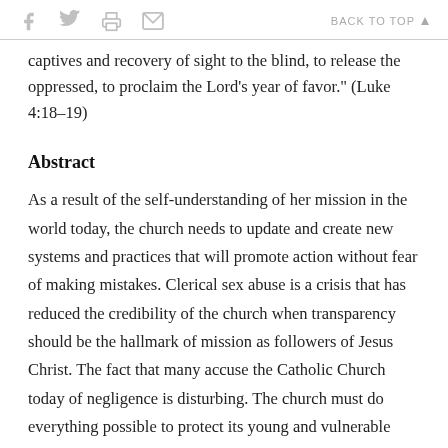Social media icons (f, bird, printer, envelope) | BACK TO TOP ▲
captives and recovery of sight to the blind, to release the oppressed, to proclaim the Lord's year of favor." (Luke 4:18–19)
Abstract
As a result of the self-understanding of her mission in the world today, the church needs to update and create new systems and practices that will promote action without fear of making mistakes. Clerical sex abuse is a crisis that has reduced the credibility of the church when transparency should be the hallmark of mission as followers of Jesus Christ. The fact that many accuse the Catholic Church today of negligence is disturbing. The church must do everything possible to protect its young and vulnerable members. The